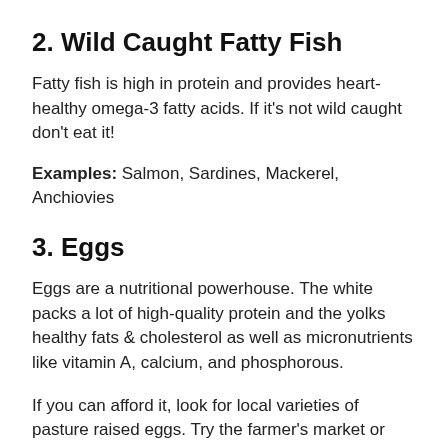2. Wild Caught Fatty Fish
Fatty fish is high in protein and provides heart-healthy omega-3 fatty acids. If it’s not wild caught don’t eat it!
Examples: Salmon, Sardines, Mackerel, Anchiovies
3. Eggs
Eggs are a nutritional powerhouse. The white packs a lot of high-quality protein and the yolks healthy fats & cholesterol as well as micronutrients like vitamin A, calcium, and phosphorous.
If you can afford it, look for local varieties of pasture raised eggs. Try the farmer’s market or gourmet grocery stores. If not, at least stick with organic, cage free, free range eggs. At the very least they weren’t packed into cages and pumped with drugs. Those eggs tend to be